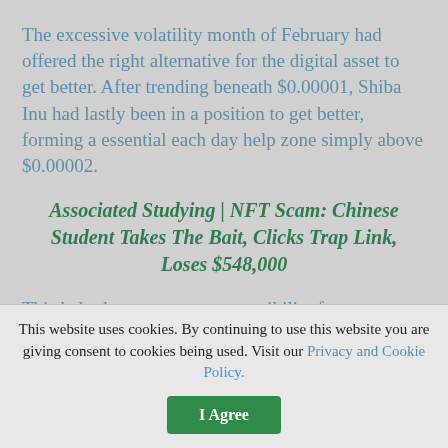The excessive volatility month of February had offered the right alternative for the digital asset to get better. After trending beneath $0.00001, Shiba Inu had lastly been in a position to get better, forming a essential each day help zone simply above $0.00002.
Associated Studying | NFT Scam: Chinese Student Takes The Bait, Clicks Trap Link, Loses $548,000
This help degree presents a possibility for one more small bounce offered the digital asset was in a position to preserve it. After closing above
This website uses cookies. By continuing to use this website you are giving consent to cookies being used. Visit our Privacy and Cookie Policy.